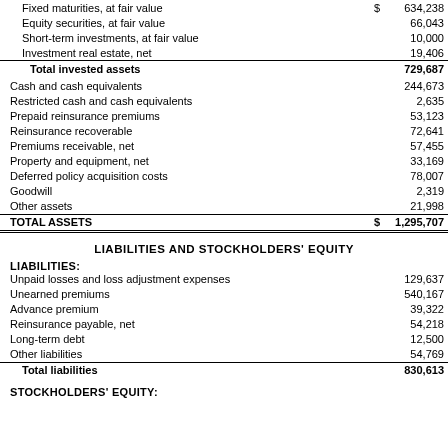|  |  |  |
| --- | --- | --- |
| Fixed maturities, at fair value | $ | 634,238 |
| Equity securities, at fair value |  | 66,043 |
| Short-term investments, at fair value |  | 10,000 |
| Investment real estate, net |  | 19,406 |
| Total invested assets |  | 729,687 |
| Cash and cash equivalents |  | 244,673 |
| Restricted cash and cash equivalents |  | 2,635 |
| Prepaid reinsurance premiums |  | 53,123 |
| Reinsurance recoverable |  | 72,641 |
| Premiums receivable, net |  | 57,455 |
| Property and equipment, net |  | 33,169 |
| Deferred policy acquisition costs |  | 78,007 |
| Goodwill |  | 2,319 |
| Other assets |  | 21,998 |
| TOTAL ASSETS | $ | 1,295,707 |
LIABILITIES AND STOCKHOLDERS' EQUITY
LIABILITIES:
|  |  |  |
| --- | --- | --- |
| Unpaid losses and loss adjustment expenses |  | 129,637 |
| Unearned premiums |  | 540,167 |
| Advance premium |  | 39,322 |
| Reinsurance payable, net |  | 54,218 |
| Long-term debt |  | 12,500 |
| Other liabilities |  | 54,769 |
| Total liabilities |  | 830,613 |
STOCKHOLDERS' EQUITY: